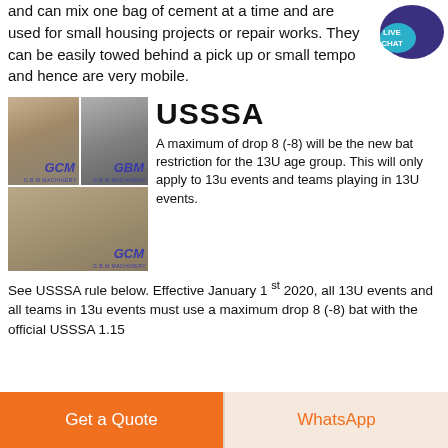and can mix one bag of cement at a time and are used for small housing projects or repair works. They can be easily towed behind a pick up or small tempo and hence are very mobile.
[Figure (photo): Two GCM machinery equipment photos on construction/quarry site, stacked vertically on left side]
USSSA
A maximum of drop 8 (-8) will be the new bat restriction for the 13U age group. This will only apply to 13u events and teams playing in 13U events. See USSSA rule below. Effective January 1 st 2020, all 13U events and all teams in 13u events must use a maximum drop 8 (-8) bat with the official USSSA 1.15
Get a Quote
WhatsApp